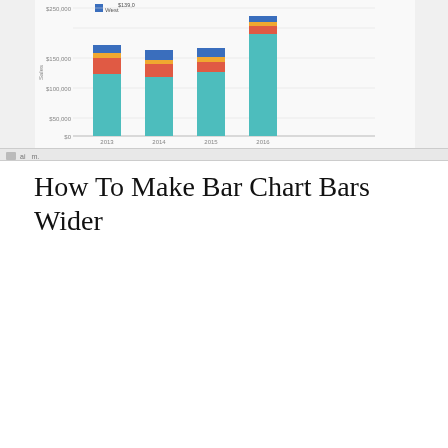[Figure (stacked-bar-chart): Sales by Region]
How To Make Bar Chart Bars Wider